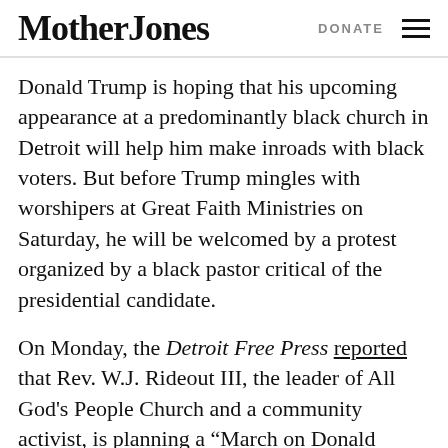Mother Jones | DONATE
Donald Trump is hoping that his upcoming appearance at a predominantly black church in Detroit will help him make inroads with black voters. But before Trump mingles with worshipers at Great Faith Ministries on Saturday, he will be welcomed by a protest organized by a black pastor critical of the presidential candidate.
On Monday, the Detroit Free Press reported that Rev. W.J. Rideout III, the leader of All God's People Church and a community activist, is planning a “March on Donald Trump” protest for Saturday. Rideout told the paper that while he does not oppose Trump’s speaking in Detroit, “I don’t want him to think that he can come in here and get our